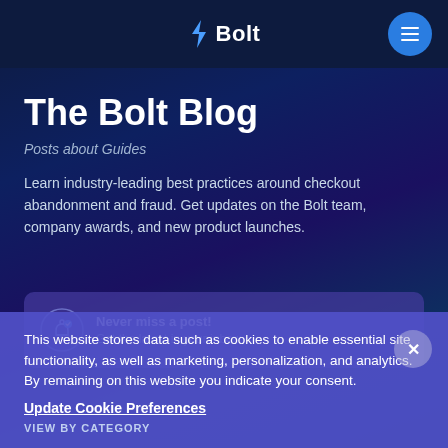Bolt
The Bolt Blog
Posts about Guides
Learn industry-leading best practices around checkout abandonment and fraud. Get updates on the Bolt team, company awards, and new product launches.
[Figure (infographic): Newsletter signup card with bell icon: 'Never miss a post! Get the latest in your inbox:']
This website stores data such as cookies to enable essential site functionality, as well as marketing, personalization, and analytics. By remaining on this website you indicate your consent.
Update Cookie Preferences
VIEW BY CATEGORY